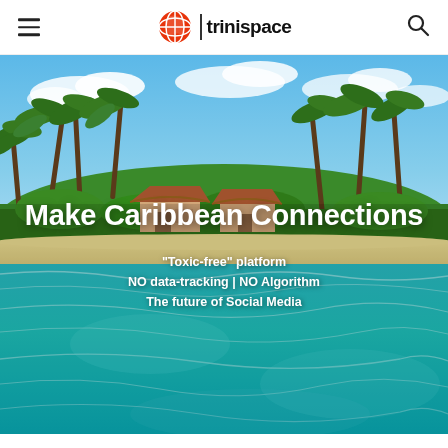trinispace
[Figure (photo): Caribbean tropical beach scene with palm trees, white sand, thatched-roof villas, and turquoise clear water in the foreground under a blue sky with clouds]
Make Caribbean Connections
“Toxic-free” platform
NO data-tracking | NO Algorithm
The future of Social Media